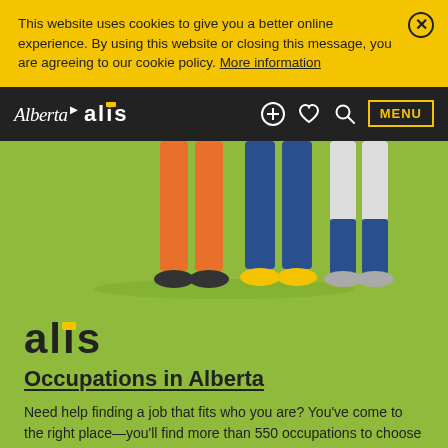This website uses cookies to give you a better online experience. By using this website or closing this message, you are agreeing to our cookie policy. More information
Alberta alis — navigation bar with MENU
[Figure (illustration): Illustration of three people's legs and feet standing together on a green background. One person in orange pants, one in blue pants, one in white shorts.]
alis
Occupations in Alberta
Need help finding a job that fits who you are? You've come to the right place—you'll find more than 550 occupations to choose from